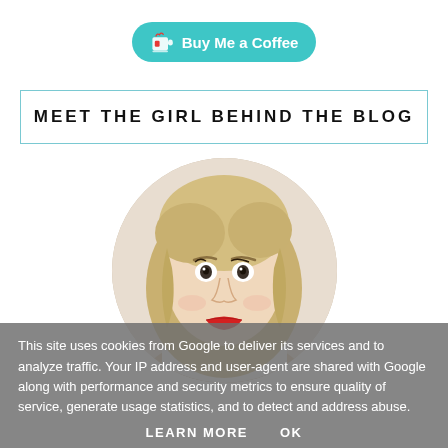[Figure (logo): Buy Me a Coffee button — teal rounded pill with coffee cup icon and text 'Buy Me a Coffee']
MEET THE GIRL BEHIND THE BLOG
[Figure (photo): Circular cropped portrait photo of a young blonde woman with red lipstick looking at the camera]
This site uses cookies from Google to deliver its services and to analyze traffic. Your IP address and user-agent are shared with Google along with performance and security metrics to ensure quality of service, generate usage statistics, and to detect and address abuse.
LEARN MORE   OK